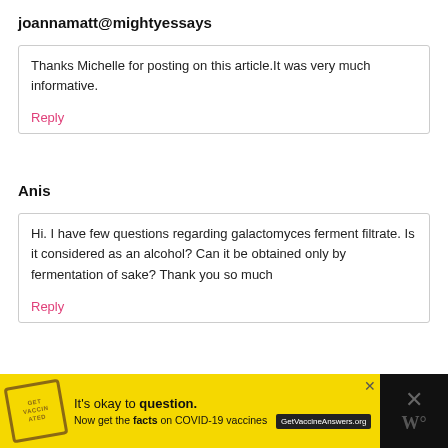joannamatt@mightyessays
Thanks Michelle for posting on this article.It was very much informative.
Reply
Anis
Hi. I have few questions regarding galactomyces ferment filtrate. Is it considered as an alcohol? Can it be obtained only by fermentation of sake? Thank you so much
Reply
[Figure (infographic): Advertisement banner: yellow background with stamp graphic, text 'It's okay to question.' and 'Now get the facts on COVID-19 vaccines' with GetVaccineAnswers.org button. Right side is dark with X icon and W logo.]